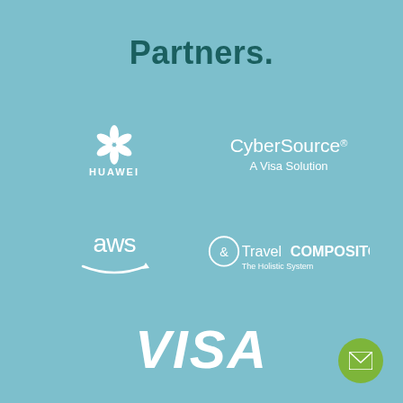Partners.
[Figure (logo): Huawei logo - white stylized flower/lotus icon above text HUAWEI]
[Figure (logo): CyberSource logo - white text CyberSource with registered mark, subtitle A Visa Solution]
[Figure (logo): AWS logo - white lowercase aws text with Amazon smile arrow underneath]
[Figure (logo): TravelCompositor logo - white ampersand circle icon followed by Travel COMPOSITOR text, subtitle The Holistic System]
[Figure (logo): VISA logo - large white italic bold VISA text]
[Figure (other): Green circular email/envelope icon button in bottom-right corner]